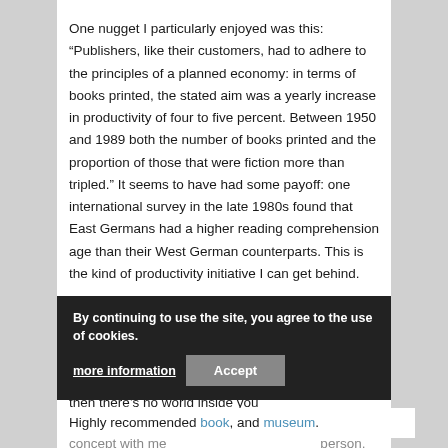One nugget I particularly enjoyed was this: “Publishers, like their customers, had to adhere to the principles of a planned economy: in terms of books printed, the stated aim was a yearly increase in productivity of four to five percent. Between 1950 and 1989 both the number of books printed and the proportion of those that were fiction more than tripled.” It seems to have had some payoff: one international survey in the late 1980s found that East Germans had a higher reading comprehension age than their West German counterparts. This is the kind of productivity initiative I can get behind.
Another anecdote that leapt out: one Stasi guard to one of the poets who refused to join the Party’s youth wing on the grounds of preferring his own interior world: “If you are a decent human being, then there’s no world inside you concept w[ith] me [as a] person.
By continuing to use the site, you agree to the use of cookies. more information Accept
Highly recommended book, and museum.